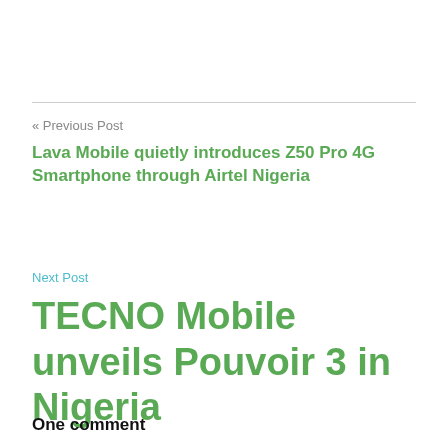« Previous Post
Lava Mobile quietly introduces Z50 Pro 4G Smartphone through Airtel Nigeria
Next Post
TECNO Mobile unveils Pouvoir 3 in Nigeria
One comment